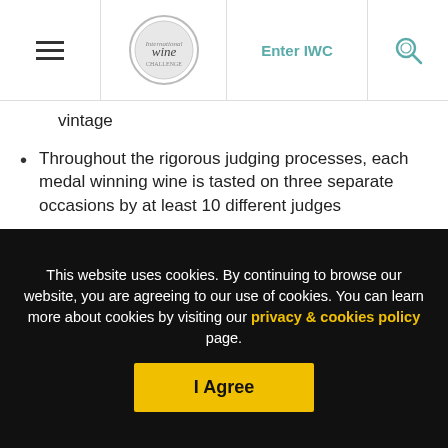IWC navigation bar with logo, Enter IWC, and search icon
vintage
Throughout the rigorous judging processes, each medal winning wine is tasted on three separate occasions by at least 10 different judges
*Awards include medals (Gold, Silver, Bronze) and Commended awards
Visit the IWC
This website uses cookies. By continuing to browse our website, you are agreeing to our use of cookies. You can learn more about cookies by visiting our privacy & cookies policy page.